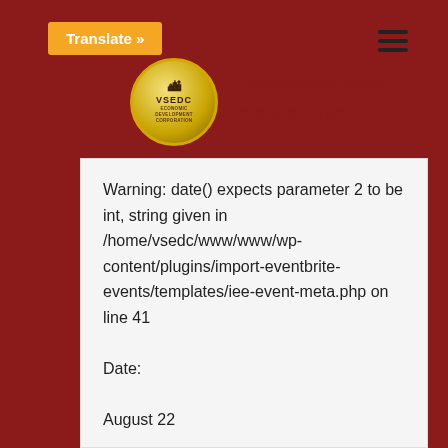[Figure (logo): VSEDC (Economic Development Corporation) circular gold logo with building icons]
…templates/iee-event-meta.php on line 41
Translate »
Warning: date() expects parameter 2 to be int, string given in /home/vsedc/www/www/wp-content/plugins/import-eventbrite-events/templates/iee-event-meta.php on line 41
Date:
August 22